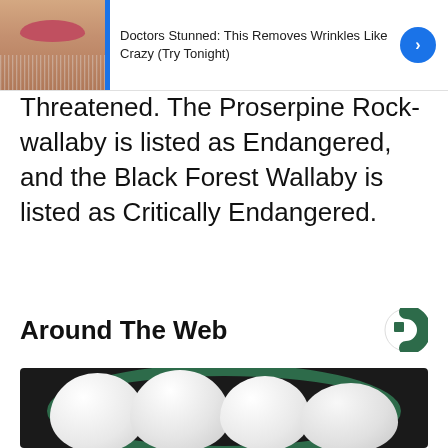[Figure (screenshot): Advertisement banner showing a face with beard stubble next to text 'Doctors Stunned: This Removes Wrinkles Like Crazy (Try Tonight)' with a blue circular arrow button]
Threatened. The Proserpine Rock-wallaby is listed as Endangered, and the Black Forest Wallaby is listed as Critically Endangered.
Around The Web
[Figure (photo): Photo of several peeled hard-boiled eggs in a dark green bowl against a dark background]